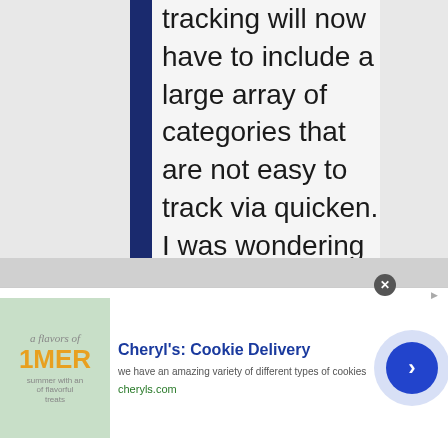tracking will now have to include a large array of categories that are not easy to track via quicken. I was wondering if you might be able to send me a blank version of your spreadsheet. I'm an account by profession and I can definitely understand the interest in details as well as the unlimited possibilities
[Figure (other): Advertisement banner for Cheryl's Cookie Delivery showing cookie image, brand name, description text 'we have an amazing variety of different types of cookies', website cheryls.com, and a blue circular arrow button]